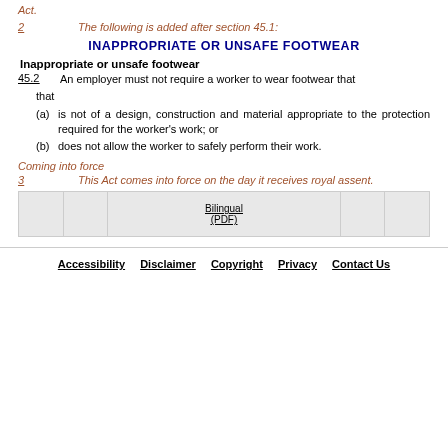Act.
2   The following is added after section 45.1:
INAPPROPRIATE OR UNSAFE FOOTWEAR
Inappropriate or unsafe footwear
45.2   An employer must not require a worker to wear footwear that
(a) is not of a design, construction and material appropriate to the protection required for the worker's work; or
(b) does not allow the worker to safely perform their work.
Coming into force
3   This Act comes into force on the day it receives royal assent.
|  |  | Bilingual (PDF) |  |  |
| --- | --- | --- | --- | --- |
|  |
Accessibility   Disclaimer   Copyright   Privacy   Contact Us